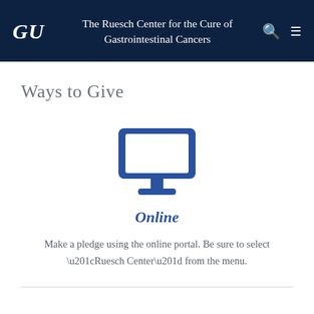GU — The Ruesch Center for the Cure of Gastrointestinal Cancers
Ways to Give
[Figure (illustration): Blue monitor/desktop computer icon]
Online
Make a pledge using the online portal. Be sure to select “Ruesch Center” from the menu.